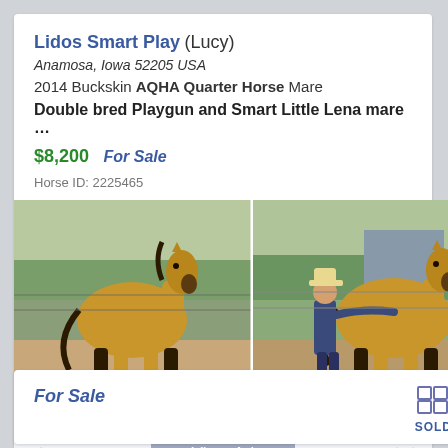Lidos Smart Play (Lucy)
Anamosa, Iowa 52205 USA
2014 Buckskin AQHA Quarter Horse Mare
Double bred Playgun and Smart Little Lena mare …
$8,200  For Sale
Horse ID:  2225465
[Figure (photo): Two photos of a buckskin quarter horse mare: left photo shows the horse standing alone in a dirt paddock with green trees in background; right photo shows a person in a cowboy hat standing next to the same horse.]
View Ad
For Sale
SOLD